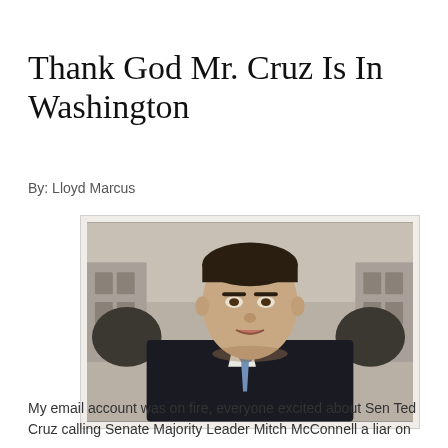Thank God Mr. Cruz Is In Washington
By: Lloyd Marcus
[Figure (photo): Portrait photo of Ted Cruz in a dark suit and blue tie, with a government building visible in the background. Black and white/sepia toned background.]
My email account was on fire, everyone excited about Sen Ted Cruz calling Senate Majority Leader Mitch McConnell a liar on